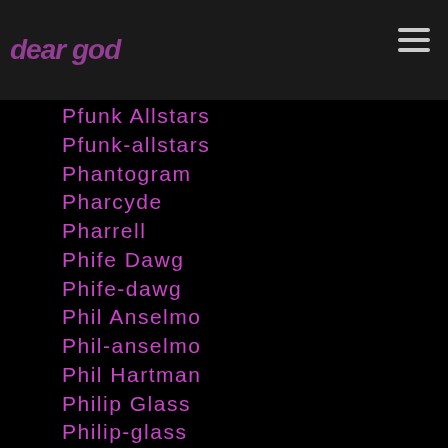dear god
Pfunk Allstars
Pfunk-allstars
Phantogram
Pharcyde
Pharrell
Phife Dawg
Phife-dawg
Phil Anselmo
Phil-anselmo
Phil Hartman
Philip Glass
Philip-glass
Philip-k-dick
Phil Jackson
Phil Knight
Phil Lynott
Philspector